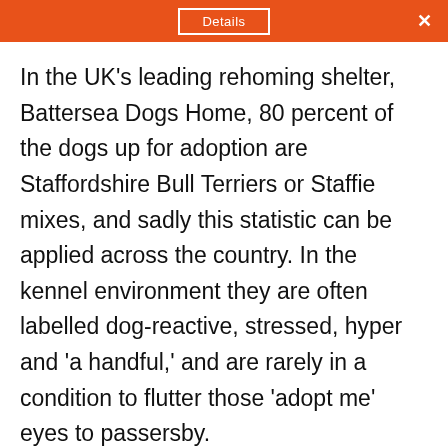Details ×
In the UK's leading rehoming shelter, Battersea Dogs Home, 80 percent of the dogs up for adoption are Staffordshire Bull Terriers or Staffie mixes, and sadly this statistic can be applied across the country. In the kennel environment they are often labelled dog-reactive, stressed, hyper and 'a handful,' and are rarely in a condition to flutter those 'adopt me' eyes to passersby.
As was the case when my mum went to Dogs Trust back in 2014 and...